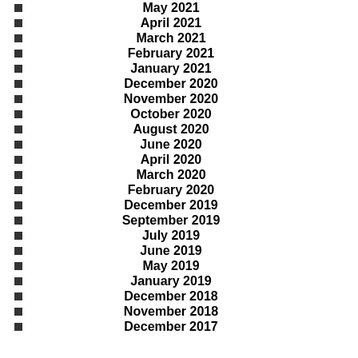May 2021
April 2021
March 2021
February 2021
January 2021
December 2020
November 2020
October 2020
August 2020
June 2020
April 2020
March 2020
February 2020
December 2019
September 2019
July 2019
June 2019
May 2019
January 2019
December 2018
November 2018
December 2017